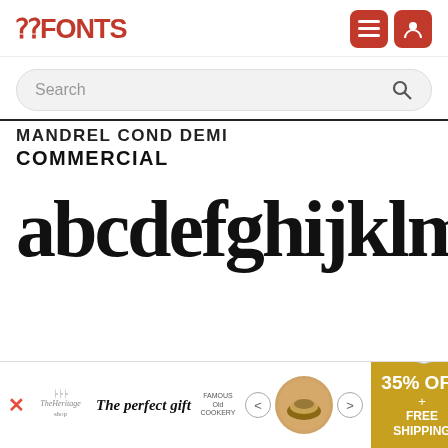FFONTS
MANDREL COND DEMI COMMERCIAL
[Figure (illustration): Font preview showing 'abcdefghijklm' in a bold serif font (Mandrel Cond Demi)]
[Figure (infographic): Advertisement banner: 'The perfect gift' with food image, carousel arrows, and '35% OFF + FREE SHIPPING' promo in gold background]